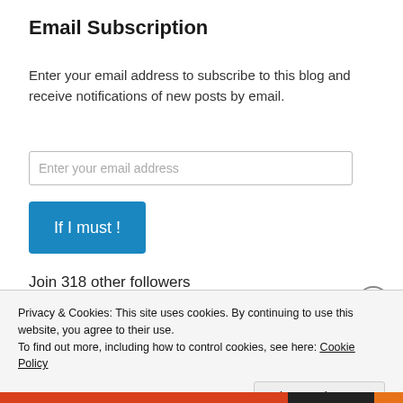Email Subscription
Enter your email address to subscribe to this blog and receive notifications of new posts by email.
Enter your email address
If I must !
Join 318 other followers
Football
Privacy & Cookies: This site uses cookies. By continuing to use this website, you agree to their use.
To find out more, including how to control cookies, see here: Cookie Policy
Close and accept